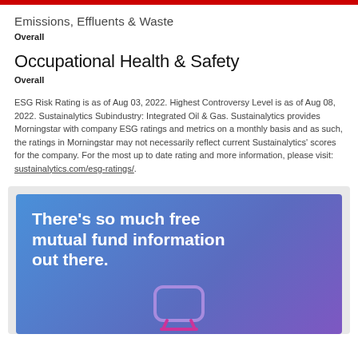Emissions, Effluents & Waste
Overall
Occupational Health & Safety
Overall
ESG Risk Rating is as of Aug 03, 2022. Highest Controversy Level is as of Aug 08, 2022. Sustainalytics Subindustry: Integrated Oil & Gas. Sustainalytics provides Morningstar with company ESG ratings and metrics on a monthly basis and as such, the ratings in Morningstar may not necessarily reflect current Sustainalytics' scores for the company. For the most up to date rating and more information, please visit: sustainalytics.com/esg-ratings/.
[Figure (infographic): Blue gradient advertisement banner reading 'There's so much free mutual fund information out there.' with a purple icon at the bottom center.]